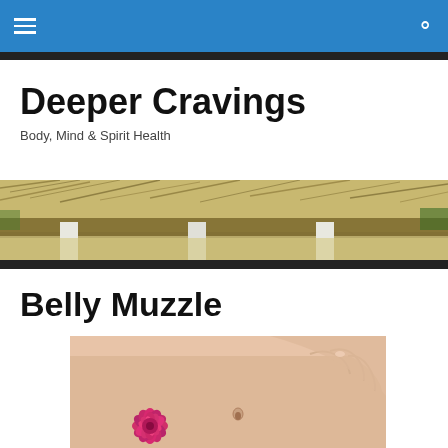Deeper Cravings — navigation bar
Deeper Cravings
Body, Mind & Spirit Health
[Figure (photo): Thatched roof / tropical hut banner image with white columns]
Belly Muzzle
[Figure (photo): Close-up of a woman's bare belly with a pink flower (chrysanthemum) and a hand touching the stomach near navel]